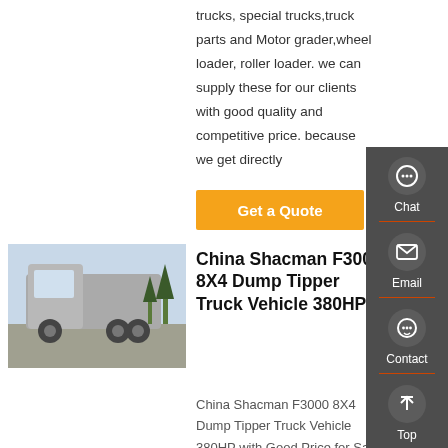trucks, special trucks,truck parts and Motor grader,wheel loader, roller loader. we can supply these for our clients with good quality and competitive price. because we get directly
[Figure (other): Orange 'Get a Quote' button]
[Figure (photo): Photo of a silver Shacman F3000 heavy truck parked outdoors]
China Shacman F3000 8X4 Dump Tipper Truck Vehicle 380HP
China Shacman F3000 8X4 Dump Tipper Truck Vehicle 380HP with Good Price for Sale